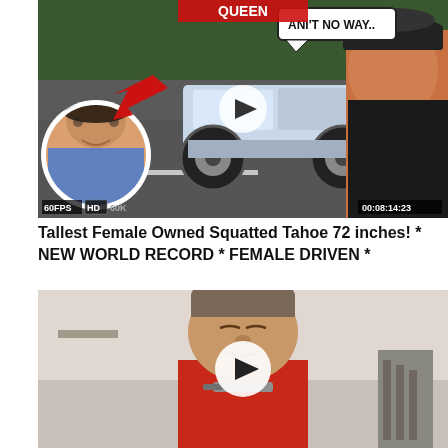[Figure (screenshot): YouTube video thumbnail showing a lifted/squatted Chevrolet Tahoe SUV on large chrome wheels, with a woman on the left side in a circular inset, a man on the right, a red arrow pointing at the truck, a speech bubble saying 'ANI'T NO WAY..', badges showing '60FPS HD 60K', and a timestamp of 00:08:14:23. A play button is centered on the image.]
Tallest Female Owned Squatted Tahoe 72 inches! * NEW WORLD RECORD * FEMALE DRIVEN *
[Figure (screenshot): YouTube video thumbnail showing a man with short hair and closed eyes, wearing a red shirt, appearing to hold something near his face, with a play button centered on the image. Background appears to be a workshop or garage.]